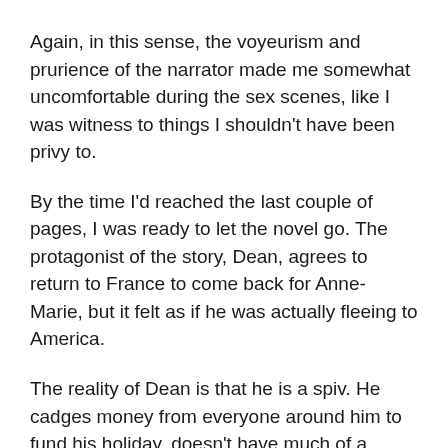Again, in this sense, the voyeurism and prurience of the narrator made me somewhat uncomfortable during the sex scenes, like I was witness to things I shouldn't have been privy to.
By the time I'd reached the last couple of pages, I was ready to let the novel go. The protagonist of the story, Dean, agrees to return to France to come back for Anne-Marie, but it felt as if he was actually fleeing to America.
The reality of Dean is that he is a spiv. He cadges money from everyone around him to fund his holiday, doesn't have much of a sense of responsibility and if he's a hero because he's nailed Anne-Marie, then it just goes to show how little the narrator knows about being a 'man'.
He's exactly the kind of prissy, obnoxious child of privilege